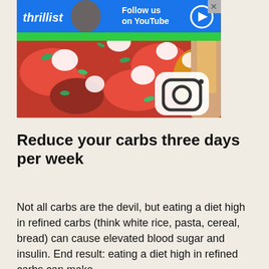[Figure (photo): Food photo showing a pizza or flatbread topped with red peppers, white cheese, and green herbs, with an Instagram logo overlay. Above the photo is a Thrillist YouTube advertisement banner with blue background.]
Reduce your carbs three days per week
Not all carbs are the devil, but eating a diet high in refined carbs (think white rice, pasta, cereal, bread) can cause elevated blood sugar and insulin. End result: eating a diet high in refined carbs can make